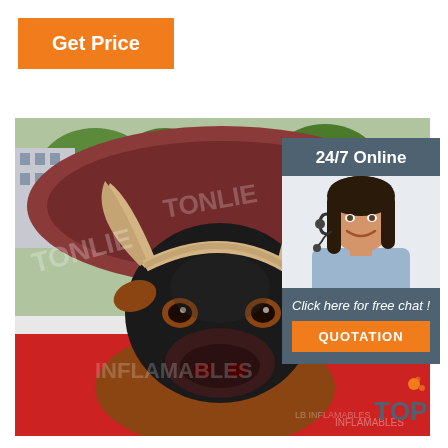Get Price
[Figure (photo): Inflatable mechanical bull riding attraction with large red/brown inflatable padding and a realistic black bull head with horns in the foreground, outdoor setting with trees in background. Watermark text visible.]
24/7 Online
[Figure (photo): Customer service representative woman with headset smiling, dark hair, wearing light blue shirt, against light background.]
Click here for free chat !
QUOTATION
[Figure (logo): TOP logo with orange flame-like icon above the letters, gray/dark colored text]